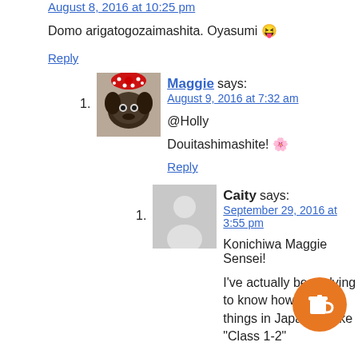August 8, 2016 at 10:25 pm
Domo arigatogozaimashita. Oyasumi 😝
Reply
[Figure (photo): Avatar photo of Maggie: a dog wearing a red polka-dot bow]
1. Maggie says: August 9, 2016 at 7:32 am
@Holly
Douitashimashite! 🌸
Reply
[Figure (photo): Default grey avatar placeholder silhouette]
1. Caity says: September 29, 2016 at 3:55 pm
Konichiwa Maggie Sensei!
I've actually been dying to know how you say things in Japanese like "Class 1-2"